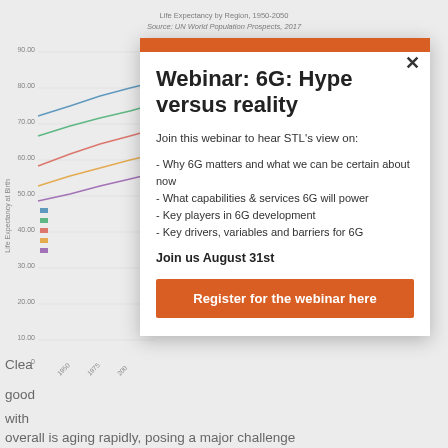[Figure (line-chart): Life Expectancy by Region, 1950-2050 line chart, partially visible behind modal overlay]
Webinar: 6G: Hype versus reality
Join this webinar to hear STL's view on:
- Why 6G matters and what we can be certain about now
- What capabilities & services 6G will power
- Key players in 6G development
- Key drivers, variables and barriers for 6G
Join us August 31st
Register for the webinar here
Clea
good
with
overall is aging rapidly, posing a major challenge